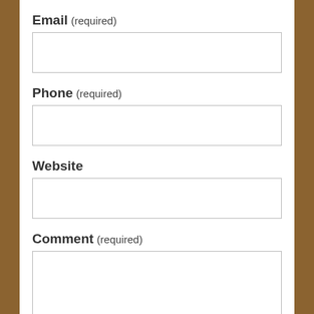Email (required)
Phone (required)
Website
Comment (required)